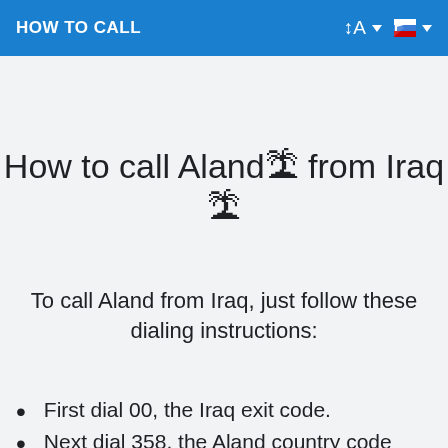HOW TO CALL
How to call Aland🏝 from Iraq 🏝
To call Aland from Iraq, just follow these dialing instructions:
First dial 00, the Iraq exit code.
Next dial 358, the Aland country code